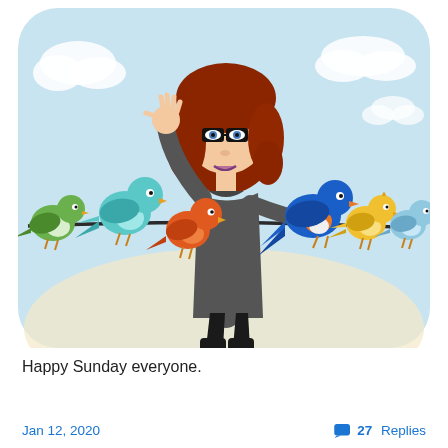[Figure (illustration): A cartoon bitmoji-style illustration of a woman with red hair, glasses, wearing a dark gray dress and black boots, sitting on a wire between colorful cartoon birds. Birds from left to right: green bird, teal/light blue bird, orange bird, blue and orange bird, yellow bird, light blue bird. The woman is waving with her right hand. Background is a light blue sky with white clouds and a warm beige/cream lower area.]
Happy Sunday everyone.
Jan 12, 2020    27 Replies